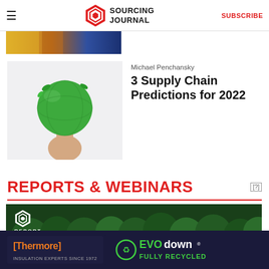SOURCING JOURNAL | SUBSCRIBE
[Figure (photo): Partial view of stacked boxes/books image (cropped at top)]
[Figure (photo): Hand holding a green globe with leaf decorations - sustainability concept image]
Michael Penchansky
3 Supply Chain Predictions for 2022
REPORTS & WEBINARS
[Figure (photo): Aerial view of dense green forest with Sourcing Journal REPORT badge overlay]
[Figure (photo): Thermore EVO down advertisement - Insulation Experts Since 1972, Fully Recycled]